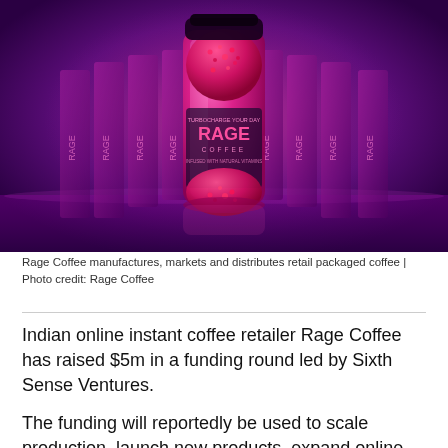[Figure (photo): Product photo of Rage Coffee jars on a purple-lit surface. A tall glass jar labeled 'RAGE COFFEE - TURBOCHARGE YOUR DAY' filled with red/pink coffee granules is centered in the foreground, surrounded by multiple smaller dark packaging boxes also branded with 'RAGE'. The entire scene is bathed in vivid purple and magenta neon lighting.]
Rage Coffee manufactures, markets and distributes retail packaged coffee | Photo credit: Rage Coffee
Indian online instant coffee retailer Rage Coffee has raised $5m in a funding round led by Sixth Sense Ventures.
The funding will reportedly be used to scale production, launch new products, expand online presence and offline